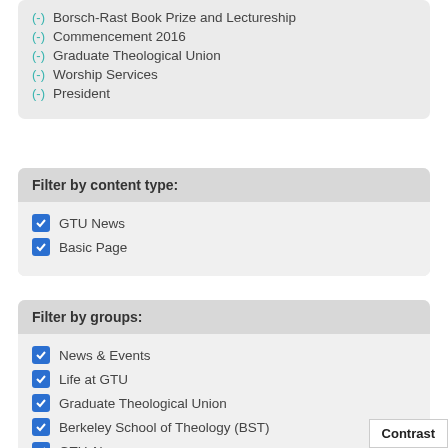(-) Borsch-Rast Book Prize and Lectureship
(-) Commencement 2016
(-) Graduate Theological Union
(-) Worship Services
(-) President
Filter by content type:
GTU News
Basic Page
Filter by groups:
News & Events
Life at GTU
Graduate Theological Union
Berkeley School of Theology (BST)
GTU Alums